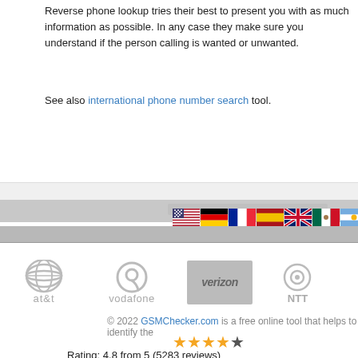Reverse phone lookup tries their best to present you with as much information as possible. In any case they make sure you understand if the person calling is wanted or unwanted.
See also international phone number search tool.
[Figure (infographic): Row of country flag icons: USA, Germany, France, Spain, UK, Mexico, Argentina, Brazil, Australia, New Zealand, Singapore, Thailand, Japan]
[Figure (logo): Telecom carrier logos: AT&T, Vodafone, Verizon, NTT — shown in grayscale]
© 2022 GSMChecker.com is a free online tool that helps to identify the...
★★★★☆ Rating: 4.8 from 5 (5283 reviews)
Reverse Phone Lookup | IMEI Check | Receive SMS Online | Phone Database